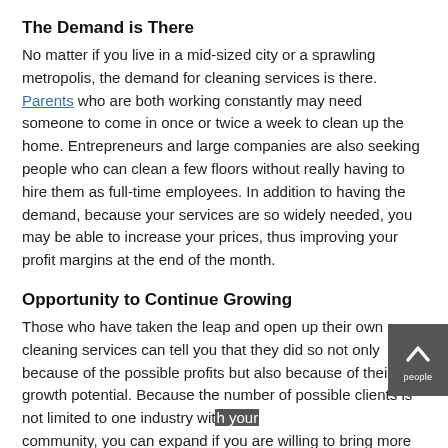The Demand is There
No matter if you live in a mid-sized city or a sprawling metropolis, the demand for cleaning services is there. Parents who are both working constantly may need someone to come in once or twice a week to clean up the home. Entrepreneurs and large companies are also seeking people who can clean a few floors without really having to hire them as full-time employees. In addition to having the demand, because your services are so widely needed, you may be able to increase your prices, thus improving your profit margins at the end of the month.
Opportunity to Continue Growing
Those who have taken the leap and open up their own cleaning services can tell you that they did so not only because of the possible profits but also because of their growth potential. Because the number of possible clients is not limited to one industry within your community, you can expand if you are willing to bring more people onto your crew. This, of course, does mean investing in training.